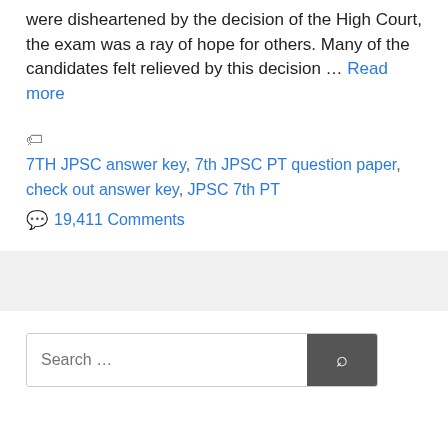were disheartened by the decision of the High Court, the exam was a ray of hope for others. Many of the candidates felt relieved by this decision … Read more
7TH JPSC answer key, 7th JPSC PT question paper, check out answer key, JPSC 7th PT
19,411 Comments